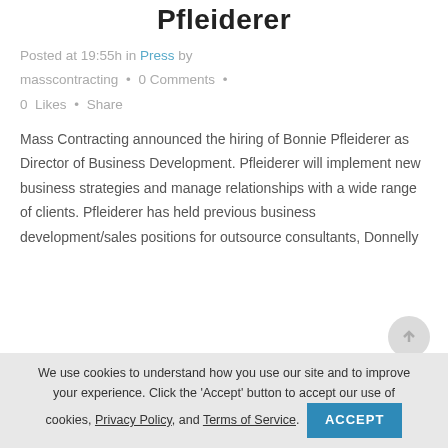Pfleiderer
Posted at 19:55h in Press by masscontracting • 0 Comments • 0 Likes • Share
Mass Contracting announced the hiring of Bonnie Pfleiderer as Director of Business Development. Pfleiderer will implement new business strategies and manage relationships with a wide range of clients. Pfleiderer has held previous business development/sales positions for outsource consultants, Donnelly
We use cookies to understand how you use our site and to improve your experience. Click the 'Accept' button to accept our use of cookies, Privacy Policy, and Terms of Service.